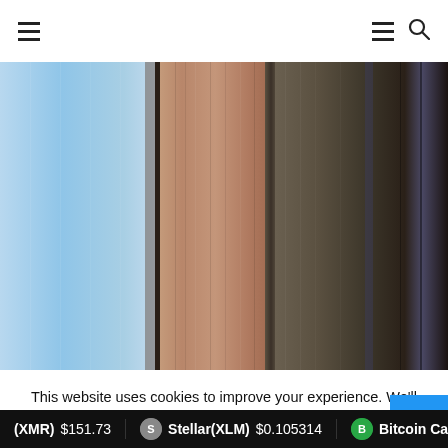Navigation header with hamburger menu icons and search icon
[Figure (illustration): Abstract vertical color stripe image with gradients from light blue on the left, transitioning through brown/copper tones in the middle, to dark olive/black on the right]
This website uses cookies to improve your experience. We'll assume you're ok with this, but you can opt-out if you w
(XMR) $151.73  Stellar(XLM) $0.105314  Bitcoin Cash(B